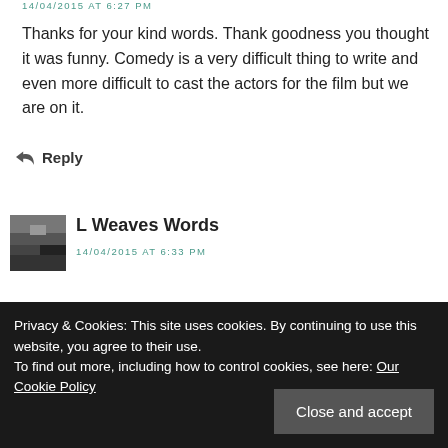14/04/2015 AT 6:27 PM
Thanks for your kind words. Thank goodness you thought it was funny. Comedy is a very difficult thing to write and even more difficult to cast the actors for the film but we are on it.
Reply
[Figure (photo): Avatar/profile photo thumbnail, grayscale landscape scene]
L Weaves Words
14/04/2015 AT 6:33 PM
Privacy & Cookies: This site uses cookies. By continuing to use this website, you agree to their use. To find out more, including how to control cookies, see here: Our Cookie Policy
Close and accept